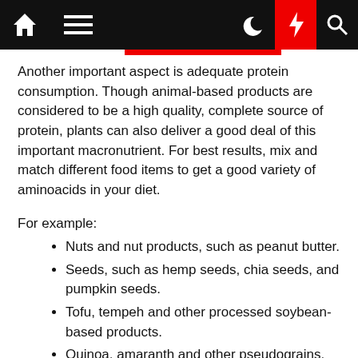Navigation bar with home, menu, dark mode, bolt, and search icons
Another important aspect is adequate protein consumption. Though animal-based products are considered to be a high quality, complete source of protein, plants can also deliver a good deal of this important macronutrient. For best results, mix and match different food items to get a good variety of aminoacids in your diet.
For example:
Nuts and nut products, such as peanut butter.
Seeds, such as hemp seeds, chia seeds, and pumpkin seeds.
Tofu, tempeh and other processed soybean-based products.
Quinoa, amaranth and other pseudograins.